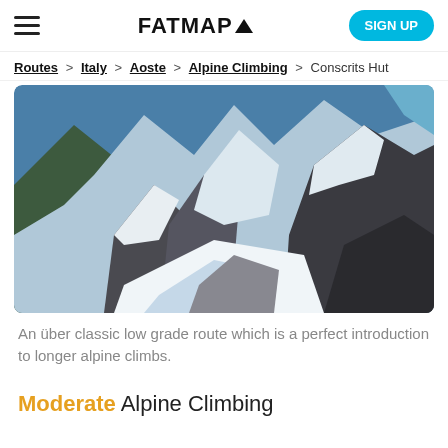FATMAP  SIGN UP
Routes > Italy > Aoste > Alpine Climbing > Conscrits Hut
[Figure (photo): Aerial view of a snowy alpine ridge with dark rocky outcrops, blue sky, and snow-covered mountain terrain.]
An über classic low grade route which is a perfect introduction to longer alpine climbs.
Moderate Alpine Climbing